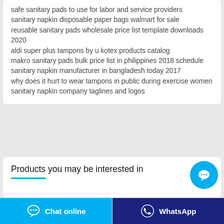safe sanitary pads to use for labor and service providers
sanitary napkin disposable paper bags walmart for sale
reusable sanitary pads wholesale price list template downloads 2020
aldi super plus tampons by u kotex products catalog
makro sanitary pads bulk price list in philippines 2018 schedule
sanitary napkin manufacturer in bangladesh today 2017
why does it hurt to wear tampons in public during exercise women
sanitary napkin company taglines and logos
Products you may be interested in